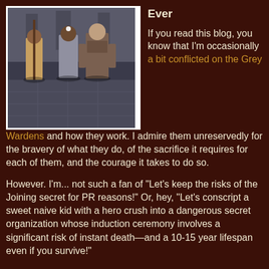[Figure (screenshot): Screenshot from a video game showing three characters standing in a stone corridor or courtyard. One character faces away from the camera wearing tan/brown clothing. Two others face forward wearing armor.]
Ever
If you read this blog, you know that I'm occasionally a bit conflicted on the Grey Wardens and how they work. I admire them unreservedly for the bravery of what they do, of the sacrifice it requires for each of them, and the courage it takes to do so.
However. I'm... not such a fan of "Let's keep the risks of the Joining secret for PR reasons!" Or, hey, "Let's conscript a sweet naive kid with a hero crush into a dangerous secret organization whose induction ceremony involves a significant risk of instant death—and a 10-15 year lifespan even if you survive!"